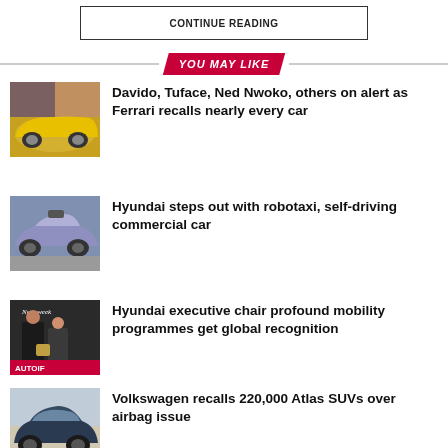CONTINUE READING
YOU MAY LIKE
[Figure (photo): Collage of Ferrari sports car (yellow) and people]
Davido, Tuface, Ned Nwoko, others on alert as Ferrari recalls nearly every car
[Figure (photo): Purple/silver Hyundai autonomous vehicle]
Hyundai steps out with robotaxi, self-driving commercial car
[Figure (photo): Two men at Newsweek event holding an award]
Hyundai executive chair profound mobility programmes get global recognition
[Figure (photo): Dark blue Volkswagen Atlas SUV]
Volkswagen recalls 220,000 Atlas SUVs over airbag issue